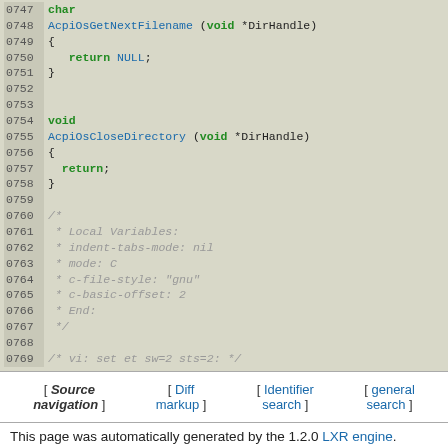[Figure (screenshot): Source code viewer showing C code lines 0748-0769 with line numbers, syntax highlighting, and a comment block. Functions AcpiOsGetNextFilename and AcpiOsCloseDirectory are shown, followed by a Local Variables comment block and a vi modeline comment.]
[ Source navigation ] [ Diff markup ] [ Identifier search ] [ general search ]
This page was automatically generated by the 1.2.0 LXR engine.